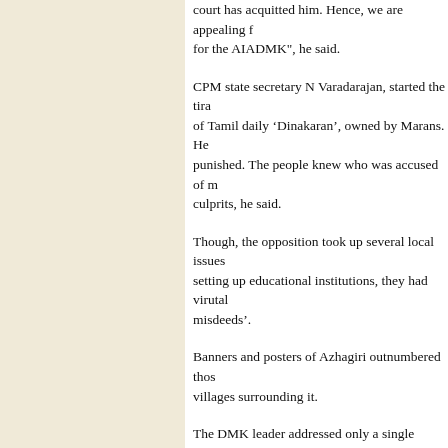court has acquitted him. Hence, we are appealing for the AIADMK", he said.
CPM state secretary N Varadarajan, started the tirade of Tamil daily 'Dinakaran', owned by Marans. He punished. The people knew who was accused of m culprits, he said.
Though, the opposition took up several local issues setting up educational institutions, they had virutally misdeeds'.
Banners and posters of Azhagiri outnumbered thos villages surrounding it.
The DMK leader addressed only a single meeting h work committee, is spearheading the party's campa
Bihar govt
San
Tribunu
Patna, January 7
Work in government offices across the state was af employees went on an indefinite strike from today, recommendations. However, some of the employee